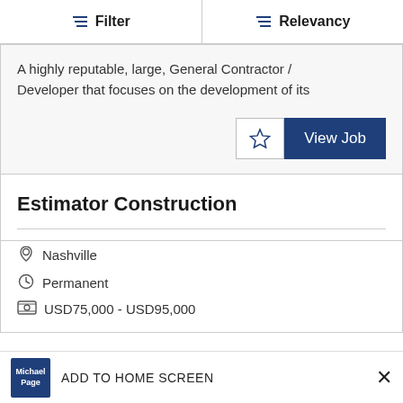Filter | Relevancy
A highly reputable, large, General Contractor / Developer that focuses on the development of its
View Job
Estimator Construction
Nashville
Permanent
USD75,000 - USD95,000
ADD TO HOME SCREEN